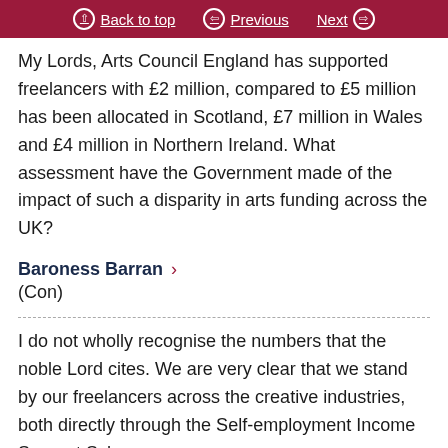Back to top | Previous | Next
My Lords, Arts Council England has supported freelancers with £2 million, compared to £5 million has been allocated in Scotland, £7 million in Wales and £4 million in Northern Ireland. What assessment have the Government made of the impact of such a disparity in arts funding across the UK?
Baroness Barran
(Con)
I do not wholly recognise the numbers that the noble Lord cites. We are very clear that we stand by our freelancers across the creative industries, both directly through the Self-employment Income Support Scheme, as well as through the broader...